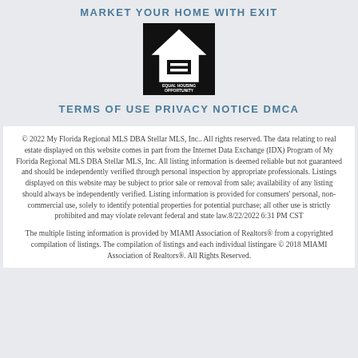MARKET YOUR HOME WITH EXIT
[Figure (logo): Equal Housing Opportunity logo — white house with equal sign on black background, text 'EQUAL HOUSING OPPORTUNITY']
TERMS OF USE PRIVACY NOTICE DMCA
© 2022 My Florida Regional MLS DBA Stellar MLS, Inc.. All rights reserved. The data relating to real estate displayed on this website comes in part from the Internet Data Exchange (IDX) Program of My Florida Regional MLS DBA Stellar MLS, Inc. All listing information is deemed reliable but not guaranteed and should be independently verified through personal inspection by appropriate professionals. Listings displayed on this website may be subject to prior sale or removal from sale; availability of any listing should always be independently verified. Listing information is provided for consumers' personal, non-commercial use, solely to identify potential properties for potential purchase; all other use is strictly prohibited and may violate relevant federal and state law.8/22/2022 6:31 PM CST
The multiple listing information is provided by MIAMI Association of Realtors® from a copyrighted compilation of listings. The compilation of listings and each individual listingare © 2018 MIAMI Association of Realtors®. All Rights Reserved.